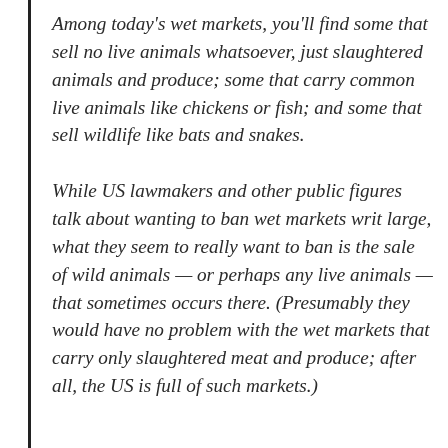Among today's wet markets, you'll find some that sell no live animals whatsoever, just slaughtered animals and produce; some that carry common live animals like chickens or fish; and some that sell wildlife like bats and snakes.
While US lawmakers and other public figures talk about wanting to ban wet markets writ large, what they seem to really want to ban is the sale of wild animals — or perhaps any live animals — that sometimes occurs there. (Presumably they would have no problem with the wet markets that carry only slaughtered meat and produce; after all, the US is full of such markets.)